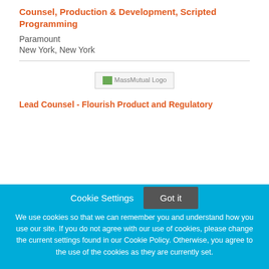Counsel, Production & Development, Scripted Programming
Paramount
New York, New York
[Figure (logo): MassMutual Logo]
Lead Counsel - Flourish Product and Regulatory
Cookie Settings
Got it
We use cookies so that we can remember you and understand how you use our site. If you do not agree with our use of cookies, please change the current settings found in our Cookie Policy. Otherwise, you agree to the use of the cookies as they are currently set.